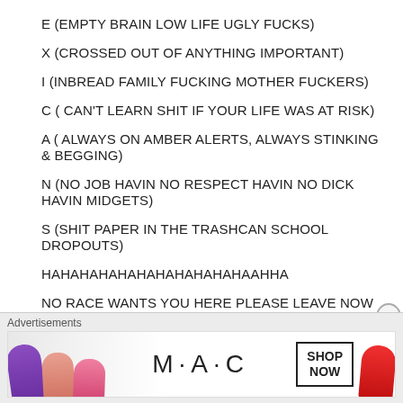E (EMPTY BRAIN LOW LIFE UGLY FUCKS)
X (CROSSED OUT OF ANYTHING IMPORTANT)
I (INBREAD FAMILY FUCKING MOTHER FUCKERS)
C ( CAN'T LEARN SHIT IF YOUR LIFE WAS AT RISK)
A ( ALWAYS ON AMBER ALERTS, ALWAYS STINKING & BEGGING)
N (NO JOB HAVIN NO RESPECT HAVIN NO DICK HAVIN MIDGETS)
S (SHIT PAPER IN THE TRASHCAN SCHOOL DROPOUTS)
HAHAHAHAHAHAHAHAHAHAHAAHHA
NO RACE WANTS YOU HERE PLEASE LEAVE NOW
[Figure (advertisement): MAC cosmetics advertisement showing lipsticks and SHOP NOW button]